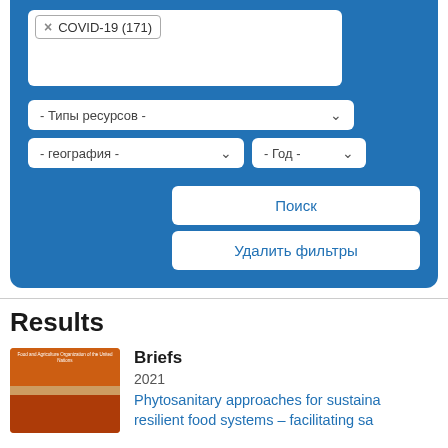× COVID-19 (171)
- Типы ресурсов -
- география -
- Год -
Поиск
Удалить фильтры
Results
Briefs
2021
Phytosanitary approaches for sustainable and resilient food systems – facilitating sa...